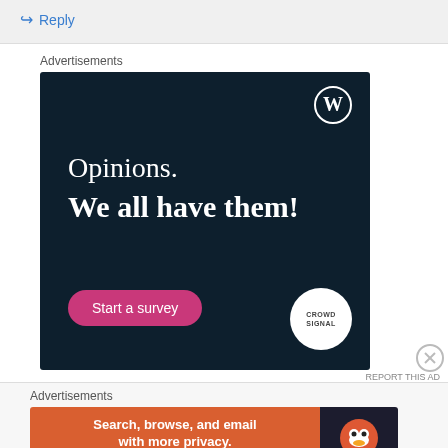↪ Reply
Advertisements
[Figure (illustration): WordPress advertisement on dark navy background with text 'Opinions. We all have them!' and a 'Start a survey' button, showing WordPress logo and CrowdSignal logo.]
REPORT THIS AD
Advertisements
[Figure (illustration): DuckDuckGo advertisement in orange and dark background: 'Search, browse, and email with more privacy. All in One Free App' with DuckDuckGo logo.]